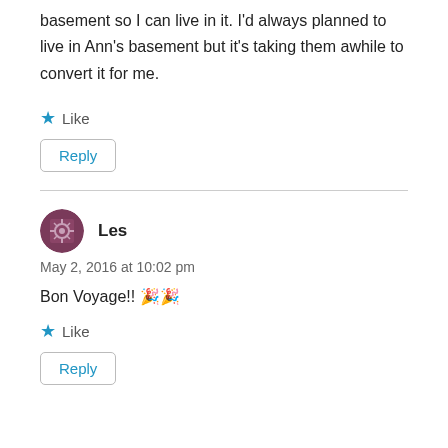basement so I can live in it. I'd always planned to live in Ann's basement but it's taking them awhile to convert it for me.
★ Like
Reply
Les
May 2, 2016 at 10:02 pm
Bon Voyage!! 🎉🎉
★ Like
Reply